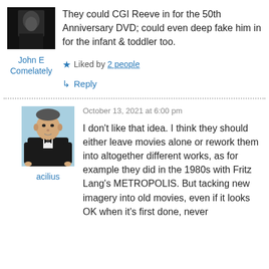[Figure (photo): Dark avatar image of a person in formal attire]
John E Comelately
They could CGI Reeve in for the 50th Anniversary DVD; could even deep fake him in for the infant & toddler too.
★ Liked by 2 people
↳ Reply
[Figure (illustration): Illustrated portrait of a 19th century man in black suit seated]
acilius
October 13, 2021 at 6:00 pm
I don't like that idea. I think they should either leave movies alone or rework them into altogether different works, as for example they did in the 1980s with Fritz Lang's METROPOLIS. But tacking new imagery into old movies, even if it looks OK when it's first done, never